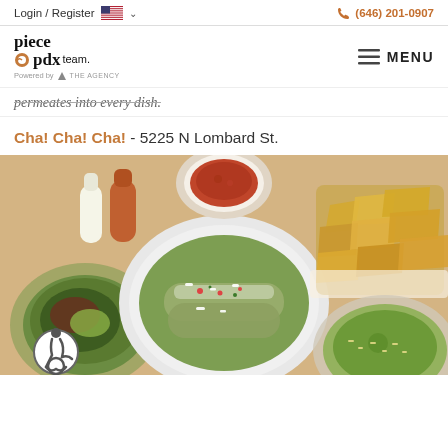Login / Register  (646) 201-0907
[Figure (logo): Piece PDX team logo powered by The Agency]
permeates into every dish.
Cha! Cha! Cha! - 5225 N Lombard St.
[Figure (photo): Overhead photo of Mexican food dishes including enchiladas in green salsa with cotija cheese, chips and salsa, a salad, and a rice/guacamole dish on a wooden table surface]